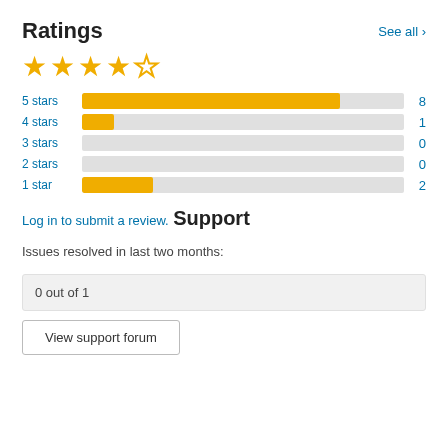Ratings
See all >
[Figure (other): 4 out of 5 stars rating displayed as star icons (4 filled gold stars, 1 empty outline star)]
[Figure (bar-chart): Ratings breakdown]
Log in to submit a review.
Support
Issues resolved in last two months:
0 out of 1
View support forum